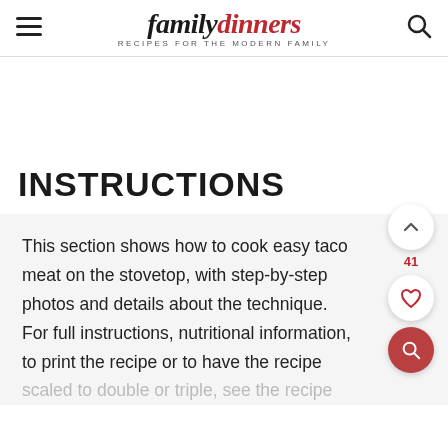family dinners — RECIPES FOR THE MODERN FAMILY
INSTRUCTIONS
This section shows how to cook easy taco meat on the stovetop, with step-by-step photos and details about the technique. For full instructions, nutritional information, to print the recipe or to have the recipe scaled to double or triple, see the recipe